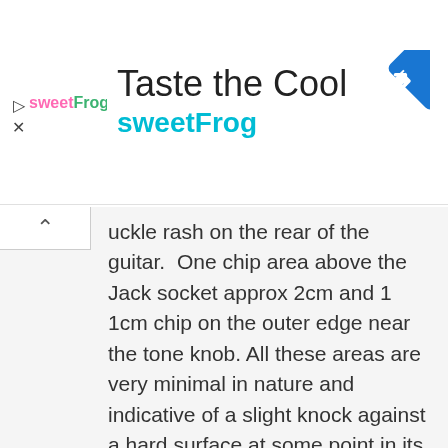[Figure (logo): sweetFrog advertisement banner with logo, title 'Taste the Cool', subtitle 'sweetFrog', navigation arrow icon, and collapse/close controls]
uckle rash on the rear of the guitar. One chip area above the Jack socket approx 2cm and 1 1cm chip on the outer edge near the tone knob. All these areas are very minimal in nature and indicative of a slight knock against a hard surface at some point in its life
Case - This guitar comes with the original hard Case in good condition. Has a few sticker remnants that can be easily removed. Case is fully functional. For an additional premium we have additional brand new m100C hard cases if required (£80).